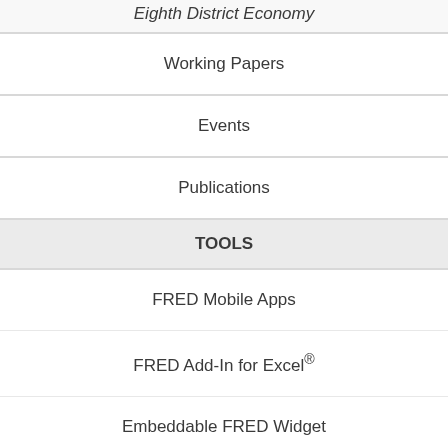Eighth District Economy
Working Papers
Events
Publications
TOOLS
FRED Mobile Apps
FRED Add-In for Excel®
Embeddable FRED Widget
Developer/APIs
ABOUT
Careers
Contact